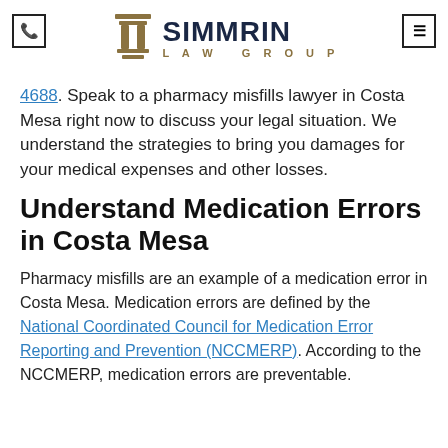Simmrin Law Group
4688. Speak to a pharmacy misfills lawyer in Costa Mesa right now to discuss your legal situation. We understand the strategies to bring you damages for your medical expenses and other losses.
Understand Medication Errors in Costa Mesa
Pharmacy misfills are an example of a medication error in Costa Mesa. Medication errors are defined by the National Coordinated Council for Medication Error Reporting and Prevention (NCCMERP). According to the NCCMERP, medication errors are preventable.